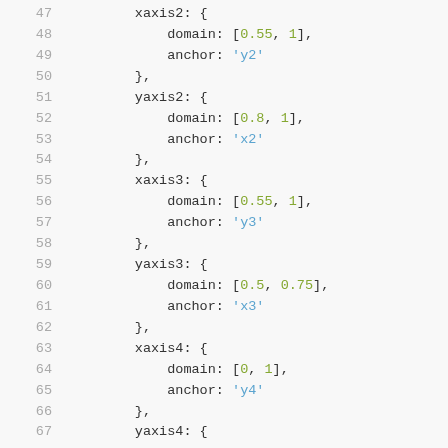[Figure (screenshot): Code snippet showing JavaScript/Plotly axis configuration with line numbers 47-67. Lines show xaxis2, yaxis2, xaxis3, yaxis3, xaxis4, yaxis4 objects with domain arrays and anchor string properties.]